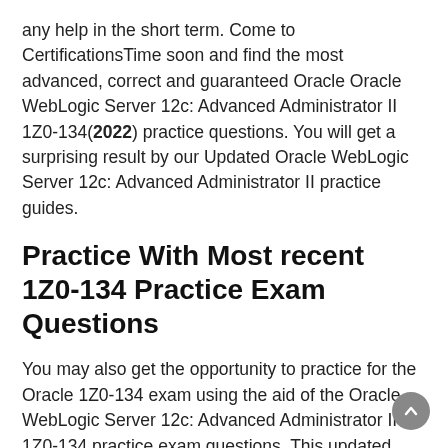any help in the short term. Come to CertificationsTime soon and find the most advanced, correct and guaranteed Oracle Oracle WebLogic Server 12c: Advanced Administrator II 1Z0-134(2022) practice questions. You will get a surprising result by our Updated Oracle WebLogic Server 12c: Advanced Administrator II practice guides.
Practice With Most recent 1Z0-134 Practice Exam Questions
You may also get the opportunity to practice for the Oracle 1Z0-134 exam using the aid of the Oracle WebLogic Server 12c: Advanced Administrator II 1Z0-134 practice exam questions. This updated 1Z0-134 braindumps questions are equipped with precise answers and possess the precise interface as of Oracle WebLogic Server 12c: Advanced